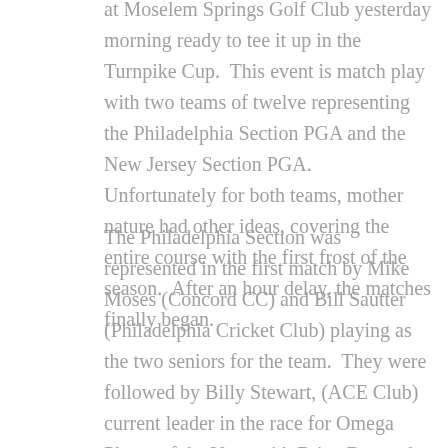at Moselem Springs Golf Club yesterday morning ready to tee it up in the Turnpike Cup.  This event is match play with two teams of twelve representing the Philadelphia Section PGA and the New Jersey Section PGA.  Unfortunately for both teams, mother nature had other ideas, covering the entire course with the first frost of the season.  After an hour delay, the matches finally began.
The Philadelphia Section was represented in the first match by Mike Moses (Concord CC) and Bill Sautter (Philadelphia Cricket Club) playing as the two seniors for the team.  They were followed by Billy Stewart, (ACE Club) current leader in the race for Omega Player of the Year, with Brian Bergstol (Shawnee Inn and GR), Trevor Bensel (Overbrook GC) with Tony Perla (Phila PGA), Stu Ingraham (M Golf Range) with Scott Reilly...